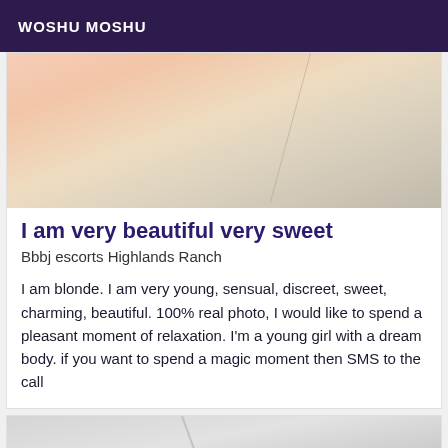WOSHU MOSHU
[Figure (photo): Close-up photo of a person's skin/body, warm beige and cream tones, diagonal line visible]
I am very beautiful very sweet
Bbbj escorts Highlands Ranch
I am blonde. I am very young, sensual, discreet, sweet, charming, beautiful. 100% real photo, I would like to spend a pleasant moment of relaxation. I'm a young girl with a dream body. if you want to spend a magic moment then SMS to the call
[Figure (photo): Partial photo of a person, grey and white tones, partial figure visible at bottom of page]